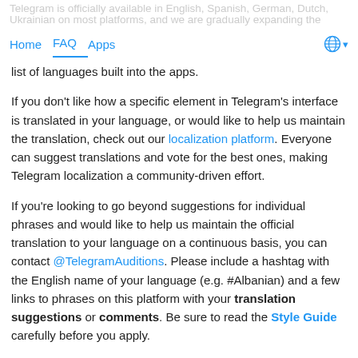Telegram is officially available in English, Spanish, German, Dutch, French, Arabic, Portuguese, Korean, Malay, Russian, Ukrainian on most platforms, and we are gradually expanding the list of languages built into the apps.
If you don't like how a specific element in Telegram's interface is translated in your language, or would like to help us maintain the translation, check out our localization platform. Everyone can suggest translations and vote for the best ones, making Telegram localization a community-driven effort.
If you're looking to go beyond suggestions for individual phrases and would like to help us maintain the official translation to your language on a continuous basis, you can contact @TelegramAuditions. Please include a hashtag with the English name of your language (e.g. #Albanian) and a few links to phrases on this platform with your translation suggestions or comments. Be sure to read the Style Guide carefully before you apply.
Q: Can I help?
Yes, we are always looking for volunteers to help us with user support. If you would be interested in answering questions about Telegram to users from your country, contact our auditions account